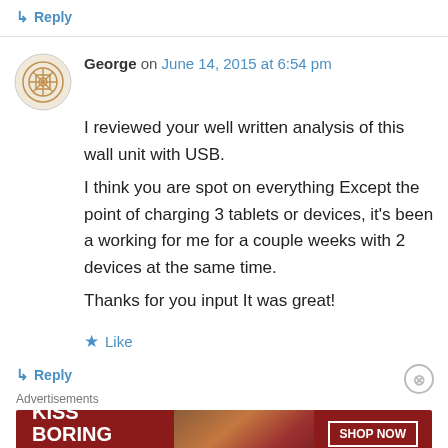↳ Reply
George on June 14, 2015 at 6:54 pm
I reviewed your well written analysis of this wall unit with USB.
I think you are spot on everything Except the point of charging 3 tablets or devices, it's been a working for me for a couple weeks with 2 devices at the same time.
Thanks for you input It was great!
★ Like
↳ Reply
Advertisements
[Figure (photo): Macy's advertisement banner: 'KISS BORING LIPS GOODBYE' with SHOP NOW button and Macy's logo on dark red background with woman's lips image]